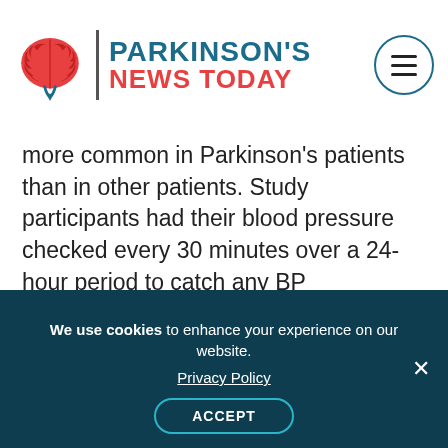[Figure (logo): Parkinson's News Today logo with red brain icon, vertical divider, and site name in teal and red]
more common in Parkinson's patients than in other patients. Study participants had their blood pressure checked every 30 minutes over a 24-hour period to catch any BP fluctuations.
Advertisement
We use cookies to enhance your experience on our website. Privacy Policy ACCEPT